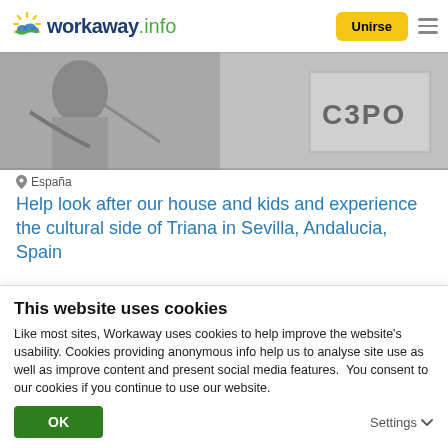workaway.info | Unirse
[Figure (photo): Black and white photo showing people, with a C3PO text/logo visible]
España
Help look after our house and kids and experience the cultural side of Triana in Sevilla, Andalucia, Spain
★★★★★ (3)
[Figure (other): Gray card area with a blue heart icon on the right]
This website uses cookies
Like most sites, Workaway uses cookies to help improve the website's usability. Cookies providing anonymous info help us to analyse site use as well as improve content and present social media features.  You consent to our cookies if you continue to use our website.
OK
Settings ▾